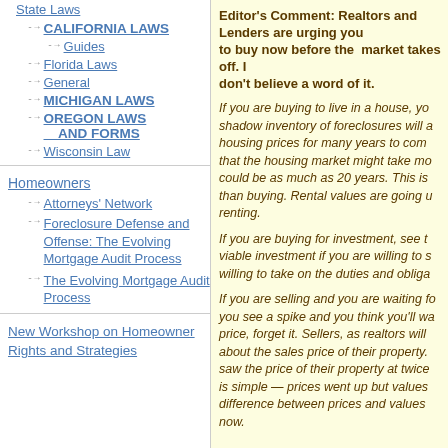State Laws
CALIFORNIA LAWS
Guides
Florida Laws
General
MICHIGAN LAWS
OREGON LAWS AND FORMS
Wisconsin Law
Homeowners
Attorneys' Network
Foreclosure Defense and Offense: The Evolving Mortgage Audit Process
The Evolving Mortgage Audit Process
New Workshop on Homeowner Rights and Strategies
Editor's Comment: Realtors and Lenders are urging you to buy now before the market takes off. I don't believe a word of it.
If you are buying to live in a house, you should know that the shadow inventory of foreclosures will affect and keep down housing prices for many years to come. Some analysts are saying that the housing market might take more than 10 years to recover, could be as much as 20 years. This is no time to buy rather than buying. Rental values are going up and you are better off renting.
If you are buying for investment, see the article below. It can be a viable investment if you are willing to stay in for the long haul and willing to take on the duties and obligations of being a landlord.
If you are selling and you are waiting for prices to recover before you see a spike and you think you'll wait and then sell at the old price, forget it. Sellers, as realtors will tell you, are very funny about the sales price of their property. Many of them, since they saw the price of their property at twice its current value think it is simple — prices went up but values didn't. They don't know the difference between prices and values. Well, they need to sell now.